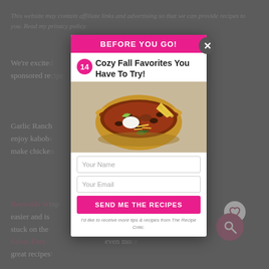This website may contain affiliate links and advertising so that we can provide recipes to you. Read my privacy policy.
We're excite [partially hidden] for this sponsored re[cipe].
Garlic Ranch [partially hidden] way to enjoy kabob[s] [it] is easy to make chick[en on a] kewer!
Reynolds W[rap] [partially hidden] up much easier and is [so the food] don't get stuck on the [grill. Try our] Pineapple Salsa, Easy [recipes and] even mo[re] great recipes[!]
[Figure (screenshot): Modal popup overlay with pink header 'BEFORE YOU GO!', title '14 Cozy Fall Favorites You Have To Try!', photo of chili in a bowl, input fields for Your Name and Your Email, a pink button 'SEND ME THE RECIPES', and disclaimer text.]
BEFORE YOU GO!
14 Cozy Fall Favorites You Have To Try!
Your Name
Your Email
SEND ME THE RECIPES
I'd like to receive more tips & recipes from The Recipe Critic.